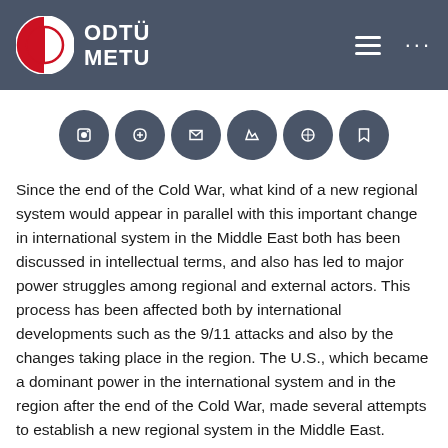ODTÜ METU
[Figure (other): Row of six dark circular social media icon buttons]
Since the end of the Cold War, what kind of a new regional system would appear in parallel with this important change in international system in the Middle East both has been discussed in intellectual terms, and also has led to major power struggles among regional and external actors. This process has been affected both by international developments such as the 9/11 attacks and also by the changes taking place in the region. The U.S., which became a dominant power in the international system and in the region after the end of the Cold War, made several attempts to establish a new regional system in the Middle East. However, those attempts sometimes failed, sometimes were transformed, and sometimes led to unexpected consequences. Because each time the U.S. had to "negotiate" with regional actors and their policies. In this context, not only anti-U.S. Actors but also allies of the U.S. defied the policies of Washington. The process called "Arab Spring" appeared in such a context. This